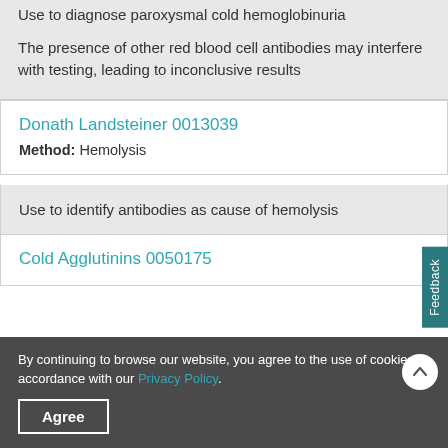Use to diagnose paroxysmal cold hemoglobinuria
The presence of other red blood cell antibodies may interfere with testing, leading to inconclusive results
Donath Landsteiner 0013039
Method: Hemolysis
Use to identify antibodies as cause of hemolysis
Cold Agglutinins 0050175
By continuing to browse our website, you agree to the use of cookies in accordance with our Privacy Policy.